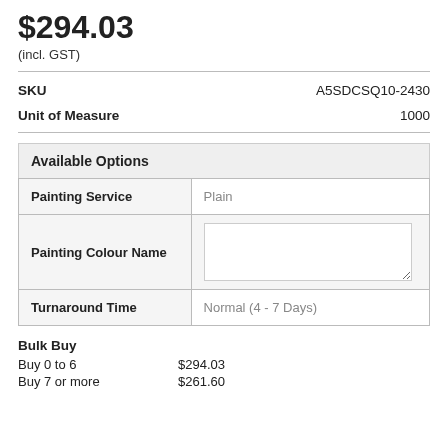$294.03
(incl. GST)
| Field | Value |
| --- | --- |
| SKU | A5SDCSQ10-2430 |
| Unit of Measure | 1000 |
Available Options
| Option | Value |
| --- | --- |
| Painting Service | Plain |
| Painting Colour Name |  |
| Turnaround Time | Normal (4 - 7 Days) |
Bulk Buy
Buy 0 to 6   $294.03
Buy 7 or more...